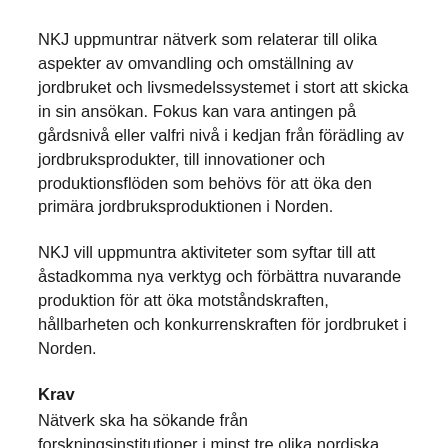NKJ uppmuntrar nätverk som relaterar till olika aspekter av omvandling och omställning av jordbruket och livsmedelssystemet i stort att skicka in sin ansökan. Fokus kan vara antingen på gårdsnivå eller valfri nivå i kedjan från förädling av jordbruksprodukter, till innovationer och produktionsflöden som behövs för att öka den primära jordbruksproduktionen i Norden.
NKJ vill uppmuntra aktiviteter som syftar till att åstadkomma nya verktyg och förbättra nuvarande produktion för att öka motståndskraften, hållbarheten och konkurrenskraften för jordbruket i Norden.
Krav
Nätverk ska ha sökande från forskningsinstitutioner i minst tre olika nordiska länder.
Nätverk kan ansöka om stöd, och varje ansökan...